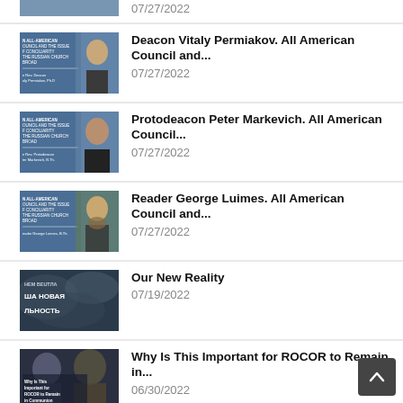07/27/2022 (partial top entry)
Deacon Vitaly Permiakov. All American Council and... 07/27/2022
Protodeacon Peter Markevich. All American Council... 07/27/2022
Reader George Luimes. All American Council and... 07/27/2022
Our New Reality 07/19/2022
Why Is This Important for ROCOR to Remain in... 06/30/2022